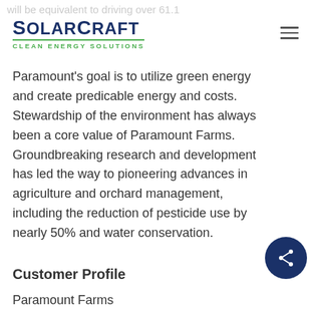will be equivalent to driving over 61.1
[Figure (logo): SolarCraft Clean Energy Solutions logo with dark blue wordmark and green tagline underline]
Paramount’s goal is to utilize green energy and create predicable energy and costs. Stewardship of the environment has always been a core value of Paramount Farms. Groundbreaking research and development has led the way to pioneering advances in agriculture and orchard management, including the reduction of pesticide use by nearly 50% and water conservation.
Customer Profile
Paramount Farms...